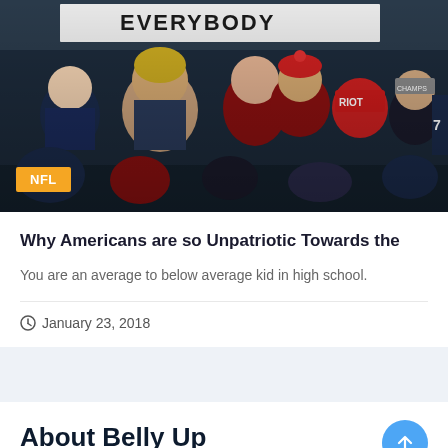[Figure (photo): Crowd of sports fans at an NFL game, wearing red, navy, and black gear, holding a sign that reads 'EVERYBODY', with an NFL badge overlay in orange/yellow]
Why Americans are so Unpatriotic Towards the
You are an average to below average kid in high school.
January 23, 2018
About Belly Up
“Some said we’d go ‘Belly Up,’ so we made it our name –